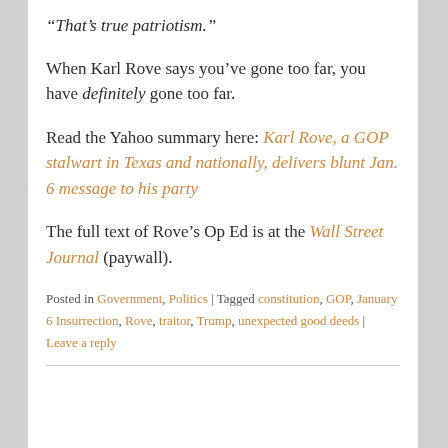“That’s true patriotism.”
When Karl Rove says you’ve gone too far, you have definitely gone too far.
Read the Yahoo summary here: Karl Rove, a GOP stalwart in Texas and nationally, delivers blunt Jan. 6 message to his party
The full text of Rove’s Op Ed is at the Wall Street Journal (paywall).
Posted in Government, Politics | Tagged constitution, GOP, January 6 Insurrection, Rove, traitor, Trump, unexpected good deeds | Leave a reply